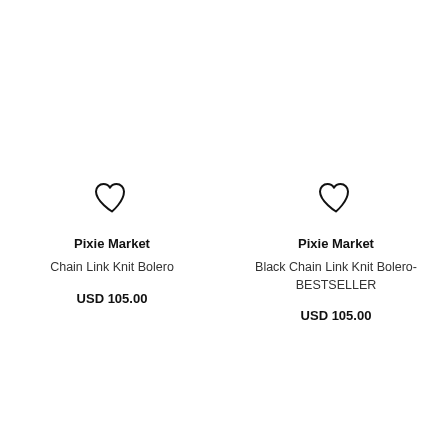[Figure (other): Heart/wishlist icon for left product card]
Pixie Market
Chain Link Knit Bolero
USD 105.00
[Figure (other): Heart/wishlist icon for right product card]
Pixie Market
Black Chain Link Knit Bolero- BESTSELLER
USD 105.00